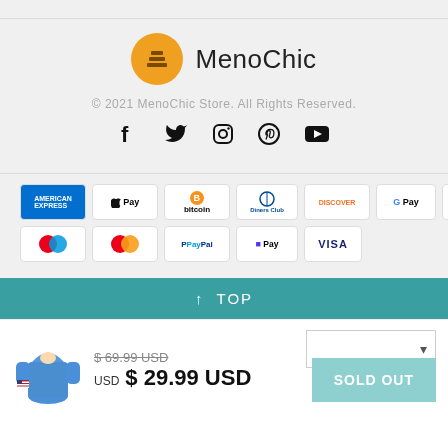[Figure (logo): MenoChic store logo with orange circle icon and brand name]
© 2021 MenoChic Store. All Rights Reserved.
[Figure (infographic): Social media icons: Facebook, Twitter, Instagram, Pinterest, YouTube]
[Figure (infographic): Payment method badges: American Express, Apple Pay, Bitcoin, Diners Club, Discover, Google Pay, JCB, Maestro, Mastercard, PayPal, Shop Pay, Visa]
↑ TOP
[Figure (photo): Blue hoodie product image with US flag on sleeve]
$ 69.99 USD (strikethrough) USD $ 29.99 USD
SOLD OUT